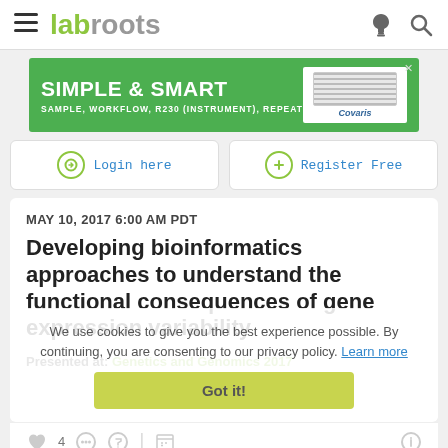labroots
[Figure (screenshot): Advertisement banner: green background, text SIMPLE & SMART / SAMPLE, WORKFLOW, R230 (INSTRUMENT), REPEAT with Covaris logo on right]
Login here
Register Free
MAY 10, 2017 6:00 AM PDT
Developing bioinformatics approaches to understand the functional consequences of gene expression variability
Presented at: Genetics and Genomics 2017
We use cookies to give you the best experience possible. By continuing, you are consenting to our privacy policy. Learn more
Got it!